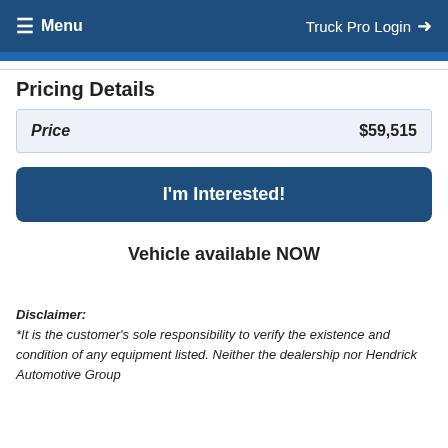Menu   Truck Pro Login
Pricing Details
| Price | $59,515 |
| --- | --- |
I'm Interested!
Vehicle available NOW
Disclaimer:
*It is the customer's sole responsibility to verify the existence and condition of any equipment listed. Neither the dealership nor Hendrick Automotive Group